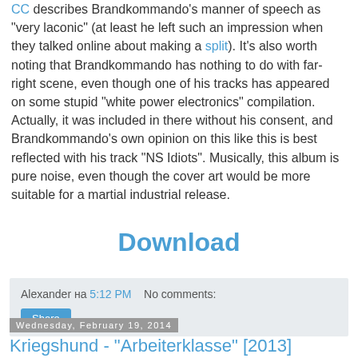CC describes Brandkommando's manner of speech as "very laconic" (at least he left such an impression when they talked online about making a split). It's also worth noting that Brandkommando has nothing to do with far-right scene, even though one of his tracks has appeared on some stupid "white power electronics" compilation. Actually, it was included in there without his consent, and Brandkommando's own opinion on this like this is best reflected with his track "NS Idiots". Musically, this album is pure noise, even though the cover art would be more suitable for a martial industrial release.
Download
Alexander на 5:12 PM   No comments:
Share
Wednesday, February 19, 2014
Kriegshund - "Arbeiterklasse" [2013]